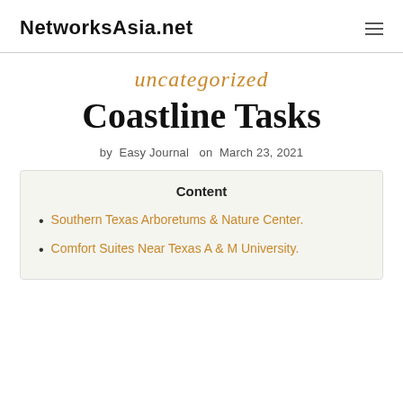NetworksAsia.net
uncategorized
Coastline Tasks
by Easy Journal on March 23, 2021
Content
Southern Texas Arboretums & Nature Center.
Comfort Suites Near Texas A & M University.